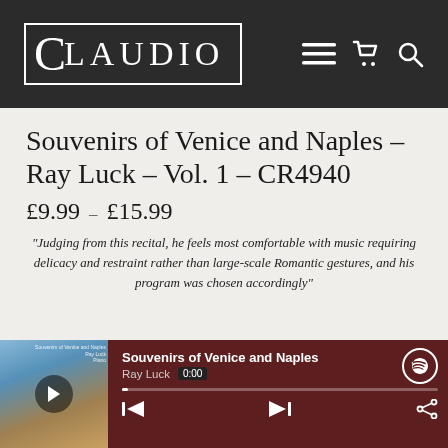CLAUDIO — navigation header with logo, menu, cart, search icons
Souvenirs of Venice and Naples – Ray Luck – Vol. 1 – CR4940
£9.99 – £15.99
“Judging from this recital, he feels most comfortable with music requiring delicacy and restraint rather than large-scale Romantic gestures, and his program was chosen accordingly”
[Figure (screenshot): Spotify embedded music player showing album art for 'Souvenirs of Venice and Naples' by Ray Luck, with play button, track title, artist name, time badge showing 0:00, scrubber bar, skip and share controls, and Spotify logo icon]